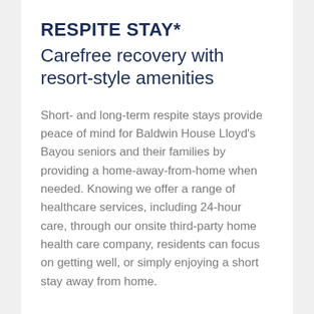RESPITE STAY*
Carefree recovery with resort-style amenities
Short- and long-term respite stays provide peace of mind for Baldwin House Lloyd’s Bayou seniors and their families by providing a home-away-from-home when needed. Knowing we offer a range of healthcare services, including 24-hour care, through our onsite third-party home health care company, residents can focus on getting well, or simply enjoying a short stay away from home.